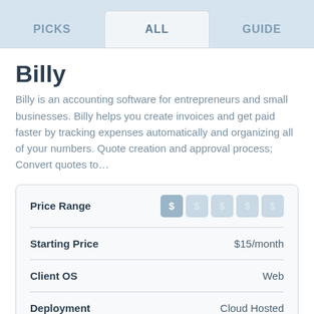PICKS | ALL | GUIDE
Billy
Billy is an accounting software for entrepreneurs and small businesses. Billy helps you create invoices and get paid faster by tracking expenses automatically and organizing all of your numbers. Quote creation and approval process; Convert quotes to…
|  |  |
| --- | --- |
| Price Range | $ (1 of 5 filled) |
| Starting Price | $15/month |
| Client OS | Web |
| Deployment | Cloud Hosted |
Demo  Pricing